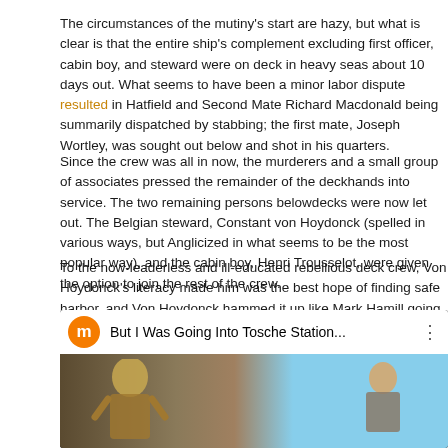The circumstances of the mutiny's start are hazy, but what is clear is that the entire ship's complement excluding first officer, cabin boy, and steward were on deck in heavy seas about 10 days out. What seems to have been a minor labor dispute resulted in Hatfield and Second Mate Richard Macdonald being summarily dispatched by stabbing; the first mate, Joseph Wortley, was sought out below and shot in his quarters.
Since the crew was all in now, the murderers and a small group of associates pressed the remainder of the deckhands into service. The two remaining persons belowdecks were now let out. The Belgian steward, Constant von Hoydonck (spelled in various ways, but Anglicized in what seems to be the most popular way), and the cabin boy, Henri Trousselot, were given the option to join the rest of the crew.
To the now-leaderless and ill-educated rebellious deck crew, Von Hoydonck's literacy made him was the best hope of finding safe harbor, and Von Hoydonck hammed it up like Mark Hamill going on about Tosche Station.
[Figure (screenshot): YouTube-style video embed with orange avatar showing letter 'm', title 'But I Was Going Into Tosche Station...', three-dot menu, and a video thumbnail showing two figures in a desert scene with a play button overlay.]